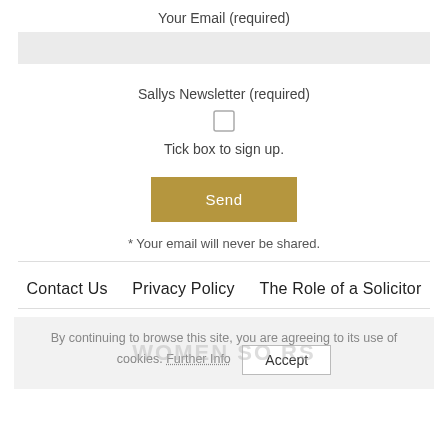Your Email (required)
Sallys Newsletter (required)
Tick box to sign up.
Send
* Your email will never be shared.
Contact Us   Privacy Policy   The Role of a Solicitor
By continuing to browse this site, you are agreeing to its use of cookies. Further Info   Accept